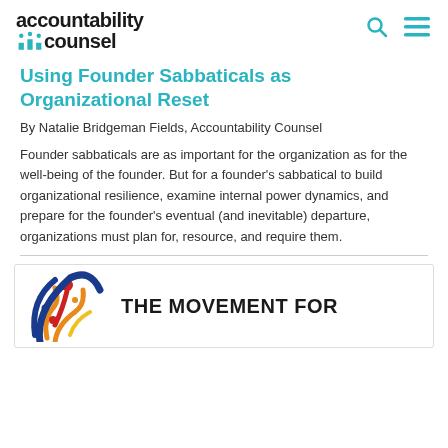accountability counsel
Using Founder Sabbaticals as Organizational Reset
By Natalie Bridgeman Fields, Accountability Counsel
Founder sabbaticals are as important for the organization as for the well-being of the founder. But for a founder's sabbatical to build organizational resilience, examine internal power dynamics, and prepare for the founder's eventual (and inevitable) departure, organizations must plan for, resource, and require them.
[Figure (logo): The Movement For logo with colorful people figures and bold text]